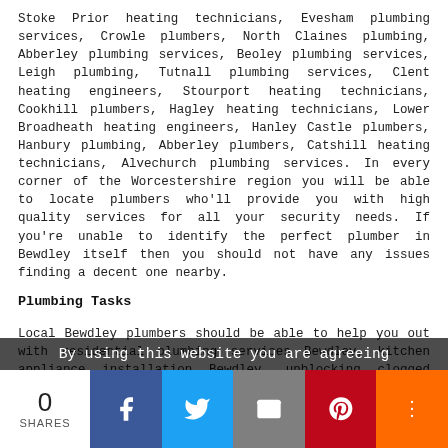Stoke Prior heating technicians, Evesham plumbing services, Crowle plumbers, North Claines plumbing, Abberley plumbing services, Beoley plumbing services, Leigh plumbing, Tutnall plumbing services, Clent heating engineers, Stourport heating technicians, Cookhill plumbers, Hagley heating technicians, Lower Broadheath heating engineers, Hanley Castle plumbers, Hanbury plumbing, Abberley plumbers, Catshill heating technicians, Alvechurch plumbing services. In every corner of the Worcestershire region you will be able to locate plumbers who'll provide you with high quality services for all your security needs. If you're unable to identify the perfect plumber in Bewdley itself then you should not have any issues finding a decent one nearby.
Plumbing Tasks
Local Bewdley plumbers should be able to help you out with residential plumbing services Bewdley, kitchen appliance installation Bewdley, unblocking clogged toilets Bewdley, under floor heating repair and installation in Bewdley, hot tubs, bathroom suite installation, thermostat installation in Bewdley, replacing taps and ball valves Bewdley, fitting washers and bobs, kitchen sinks and plumbing, toilet...
By using this website you are agreeing